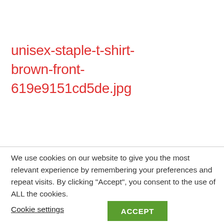unisex-staple-t-shirt-brown-front-619e9151cd5de.jpg
[Figure (screenshot): Facebook banner/header section with red bold FACEBOOK text on light gray background]
We use cookies on our website to give you the most relevant experience by remembering your preferences and repeat visits. By clicking "Accept", you consent to the use of ALL the cookies.
Cookie settings
ACCEPT